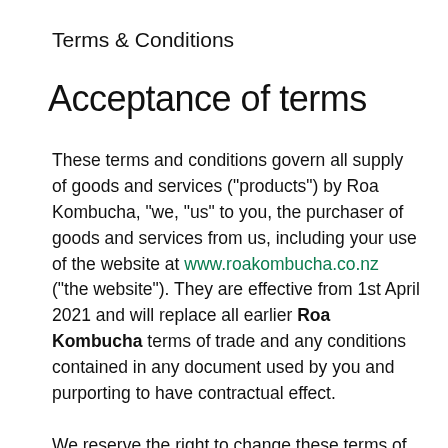Terms & Conditions
Acceptance of terms
These terms and conditions govern all supply of goods and services ("products") by Roa Kombucha, "we, "us" to you, the purchaser of goods and services from us, including your use of the website at www.roakombucha.co.nz ("the website"). They are effective from 1st April 2021 and will replace all earlier Roa Kombucha terms of trade and any conditions contained in any document used by you and purporting to have contractual effect.

We reserve the right to change these terms of trade by notice to you. Notice may be given by